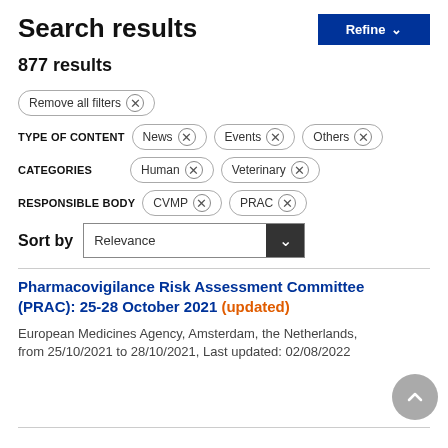Search results
877 results
Remove all filters ×
TYPE OF CONTENT  News ×  Events ×  Others ×
CATEGORIES  Human ×  Veterinary ×
RESPONSIBLE BODY  CVMP ×  PRAC ×
Sort by  Relevance
Pharmacovigilance Risk Assessment Committee (PRAC): 25-28 October 2021 (updated)
European Medicines Agency, Amsterdam, the Netherlands, from 25/10/2021 to 28/10/2021, Last updated: 02/08/2022